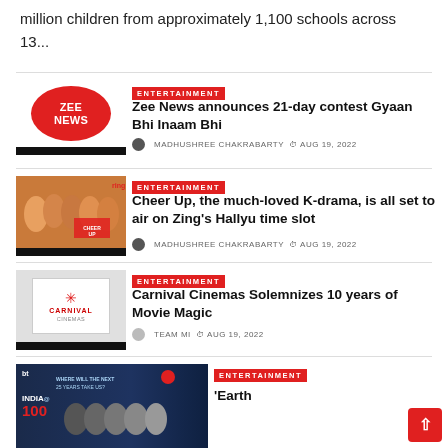million children from approximately 1,100 schools across 13...
[Figure (logo): Zee News red circular logo with white text]
ENTERTAINMENT
Zee News announces 21-day contest Gyaan Bhi Inaam Bhi
MADHUSHREE CHAKRABARTY  AUG 19, 2022
[Figure (photo): Cheer Up K-drama promotional image with cast]
ENTERTAINMENT
Cheer Up, the much-loved K-drama, is all set to air on Zing’s Hallyu time slot
MADHUSHREE CHAKRABARTY  AUG 19, 2022
[Figure (logo): Carnival Cinemas logo on grey background]
ENTERTAINMENT
Carnival Cinemas Solemnizes 10 years of Movie Magic
TEAM MI  AUG 19, 2022
[Figure (photo): BT India@100 advertisement banner]
its ‘Earth
ENTERTAINMENT